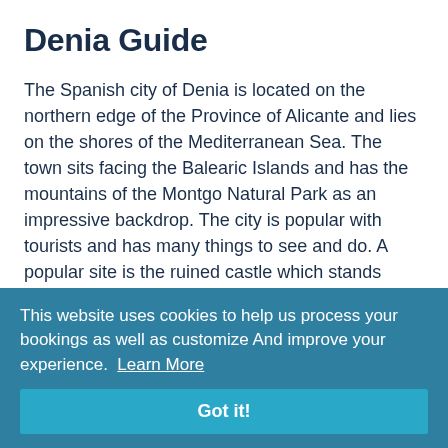Denia Guide
The Spanish city of Denia is located on the northern edge of the Province of Alicante and lies on the shores of the Mediterranean Sea. The town sits facing the Balearic Islands and has the mountains of the Montgo Natural Park as an impressive backdrop. The city is popular with tourists and has many things to see and do. A popular site is the ruined castle which stands guarding the town and has lovely views out to the city's marina. There is also the Montgo Natural Park and the Torre del Gerro, both of which have marked walking trails to enjoy.
Also of interest in the city is its marina which has a
This website uses cookies to help us process your bookings as well as customize And improve your experience.  Learn More
Got it!